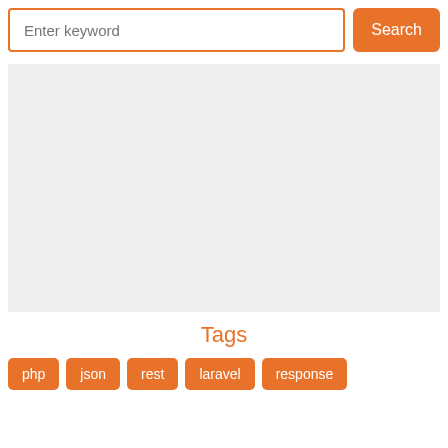[Figure (screenshot): Search bar with placeholder text 'Enter keyword' and an orange 'Search' button]
[Figure (other): Large gray placeholder rectangle (advertisement or image area)]
Tags
php
json
rest
laravel
response